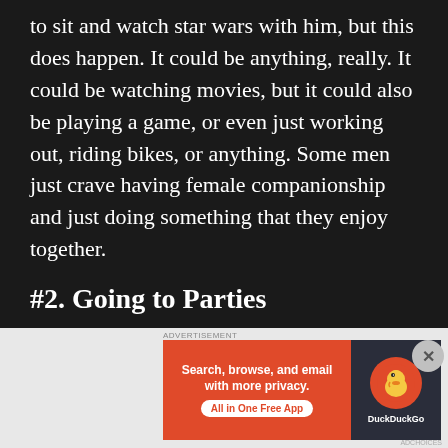to sit and watch star wars with him, but this does happen. It could be anything, really. It could be watching movies, but it could also be playing a game, or even just working out, riding bikes, or anything. Some men just crave having female companionship and just doing something that they enjoy together.
#2. Going to Parties
If you currently don't have a date and there's a party, wedding, or another event where this is expected, then hiring a professional girlfriend
[Figure (screenshot): DuckDuckGo advertisement banner: orange left section with text 'Search, browse, and email with more privacy. All in One Free App' and dark right section with DuckDuckGo duck logo]